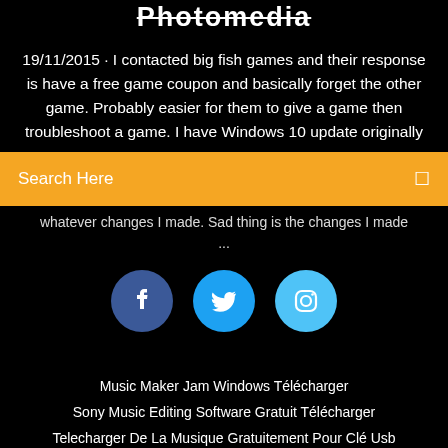Photomedia
19/11/2015 · I contacted big fish games and their response is have a free game coupon and basically forget the other game. Probably easier for them to give a game then troubleshoot a game. I have Windows 10 update originally
Search Here
whatever changes I made. Sad thing is the changes I made ...
[Figure (infographic): Three social media icon circles: Facebook (dark blue, f), Twitter (blue, bird), Instagram (light blue, camera)]
Music Maker Jam Windows Télécharger
Sony Music Editing Software Gratuit Télécharger
Telecharger De La Musique Gratuitement Pour Clé Usb